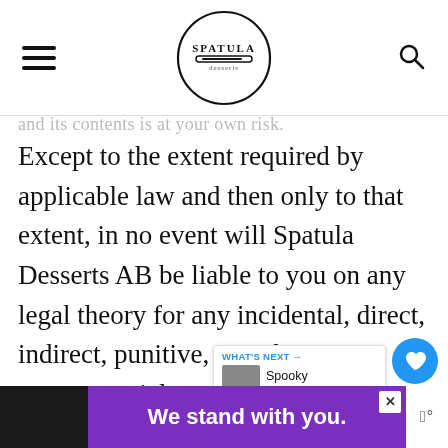Spatula Desserts
and its contents is at your own risk.
Except to the extent required by applicable law and then only to that extent, in no event will Spatula Desserts AB be liable to you on any legal theory for any incidental, direct, indirect, punitive, actual, consequential, special, exemplary, or other damages, including without
[Figure (other): Advertisement banner: black box on left, purple box with bold white text 'We stand with you.' and close X button]
[Figure (other): What's Next widget showing 'Spooky Meringue...' with thumbnail]